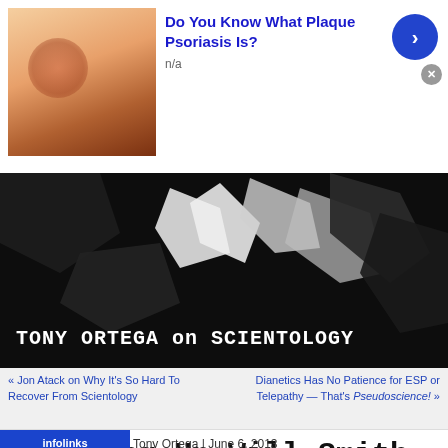[Figure (screenshot): Ad banner: skin condition image with 'Do You Know What Plaque Psoriasis Is?' heading and n/a subtext, blue arrow button and gray X button]
[Figure (screenshot): Tony Ortega on Scientology banner image - dark background with white salt/mineral shapes, white bold text]
« Jon Atack on Why It's So Hard To Recover From Scientology
Dianetics Has No Patience for ESP or Telepathy — That's Pseudoscience! »
Cheering Up Will Smith, and A Survey For You SPs!
Tony Ortega | June 6, 2013
[Figure (screenshot): Infolinks ad and Kohl's ad: Up to 60% off Clothing at Kohl's, Save up to 60% on clothing and homeware at Kohl's.com, kohls.com]